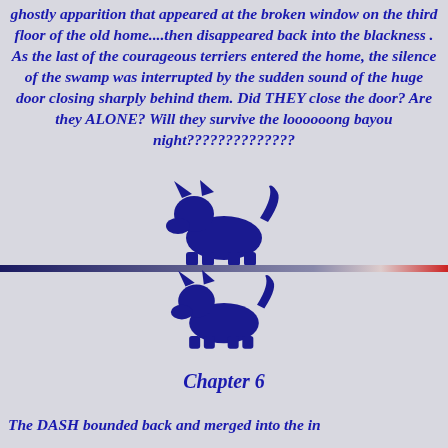ghostly apparition that appeared at the broken window on the third floor of the old home....then disappeared back into the blackness . As the last of the courageous terriers entered the home, the silence of the swamp was interrupted by the sudden sound of the huge door closing sharply behind them. Did THEY close the door? Are they ALONE? Will they survive the loooooong bayou night??????????????
[Figure (illustration): Dark blue silhouette of a Scottish Terrier dog facing left, upper position above divider line]
[Figure (illustration): Horizontal divider line fading from dark navy on left to red on right]
[Figure (illustration): Dark blue silhouette of a Scottish Terrier dog facing left, lower position below divider line]
Chapter 6
The DASH bounded back and merged into the in...